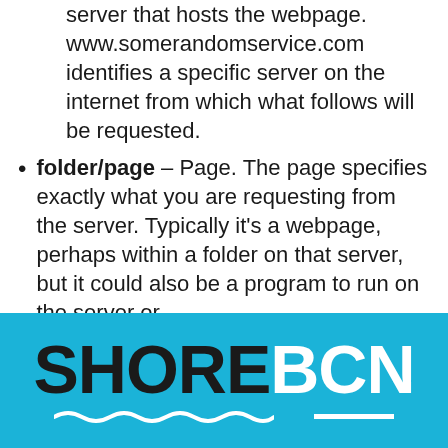server that hosts the webpage. www.somerandomservice.com identifies a specific server on the internet from which what follows will be requested.
folder/page – Page. The page specifies exactly what you are requesting from the server. Typically it's a webpage, perhaps within a folder on that server, but it could also be a program to run on the server or
[Figure (logo): SHORE BCN logo in black and white text on a cyan/blue background, with wave decoration and underline bar below]